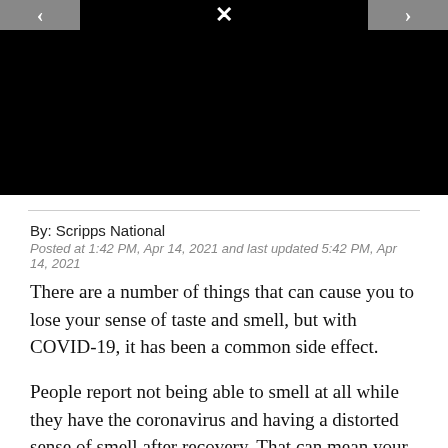[Figure (screenshot): Black video player area with navigation arrows on left, right, and top center (close/X button)]
By: Scripps National
Posted at 1:42 PM, Apr 14, 2021 and last updated 5:42 PM, Apr 14, 2021
There are a number of things that can cause you to lose your sense of taste and smell, but with COVID-19, it has been a common side effect.
People report not being able to smell at all while they have the coronavirus and having a distorted sense of smell after recovery. That can mean your coffee